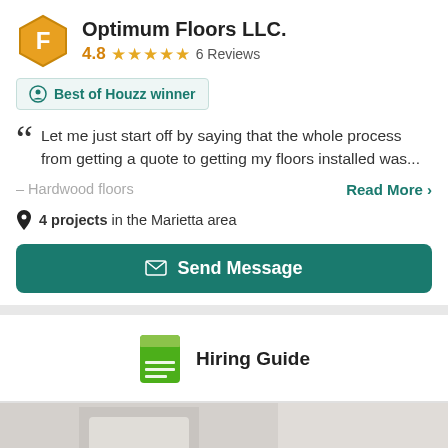Optimum Floors LLC.
4.8 ★★★★★ 6 Reviews
Best of Houzz winner
Let me just start off by saying that the whole process from getting a quote to getting my floors installed was...
– Hardwood floors
Read More >
4 projects in the Marietta area
Send Message
Hiring Guide
[Figure (photo): Photo of a floor or interior installation project, shown with a 1/1 counter badge]